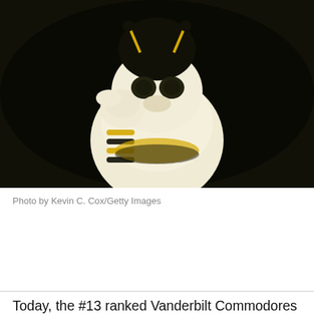[Figure (photo): Close-up photo of a bee/hornet mascot costume in black and yellow colors, pointing toward the camera against a dark background]
Photo by Kevin C. Cox/Getty Images
Today, the #13 ranked Vanderbilt Commodores Women's Soccer team will take on #11 Baylor at 7:00 CST in Waco during the second round of the NCAA tournament. The Baylor Bears are a #2 seed in their